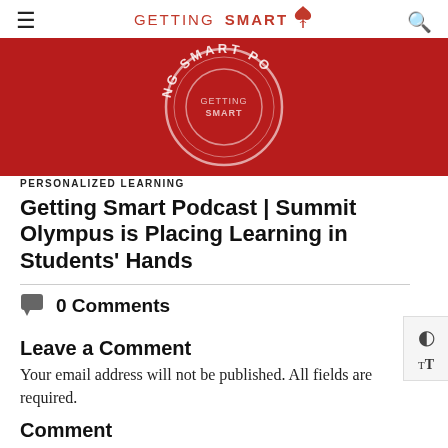GETTING SMART
[Figure (illustration): Red banner with circular logo reading 'NG SMART PO' (Getting Smart Podcast logo), white circle with text on dark red background]
PERSONALIZED LEARNING
Getting Smart Podcast | Summit Olympus is Placing Learning in Students' Hands
0 Comments
Leave a Comment
Your email address will not be published. All fields are required.
Comment